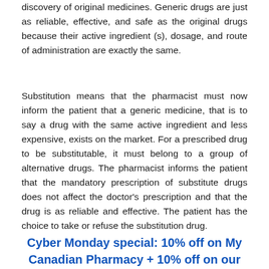discovery of original medicines. Generic drugs are just as reliable, effective, and safe as the original drugs because their active ingredient (s), dosage, and route of administration are exactly the same.
Substitution means that the pharmacist must now inform the patient that a generic medicine, that is to say a drug with the same active ingredient and less expensive, exists on the market. For a prescribed drug to be substitutable, it must belong to a group of alternative drugs. The pharmacist informs the patient that the mandatory prescription of substitute drugs does not affect the doctor's prescription and that the drug is as reliable and effective. The patient has the choice to take or refuse the substitution drug.
Cyber Monday special: 10% off on My Canadian Pharmacy + 10% off on our